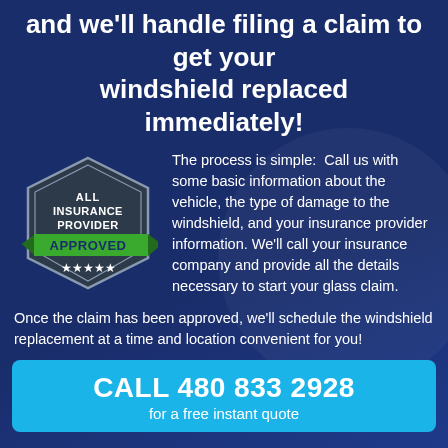and we'll handle filing a claim to get your windshield replaced immediately!
[Figure (logo): Hexagonal badge with text 'ALL INSURANCE PROVIDER' and green ribbon banner saying 'APPROVED' with 5 stars underneath]
The process is simple: Call us with some basic information about the vehicle, the type of damage to the windshield, and your insurance provider information. We'll call your insurance company and provide all the details necessary to start your glass claim. Once the claim has been approved, we'll schedule the windshield replacement at a time and location convenient for you!
No insurance? No problem. We offer a low price match
CALL 480 833 2928
for a free instant quote